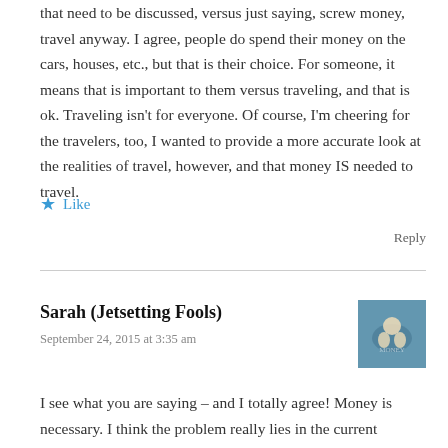that need to be discussed, versus just saying, screw money, travel anyway. I agree, people do spend their money on the cars, houses, etc., but that is their choice. For someone, it means that is important to them versus traveling, and that is ok. Traveling isn't for everyone. Of course, I'm cheering for the travelers, too, I wanted to provide a more accurate look at the realities of travel, however, and that money IS needed to travel.
Like
Reply
Sarah (Jetsetting Fools)
September 24, 2015 at 3:35 am
[Figure (photo): Small avatar/profile image showing two people outdoors with blue sky background]
I see what you are saying – and I totally agree! Money is necessary. I think the problem really lies in the current mentality of being instantly